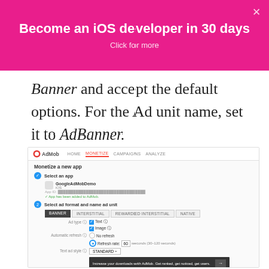[Figure (screenshot): Pink promotional banner: 'Become an iOS developer in 30 days' with 'Click for more' subtitle and close X button]
Banner and accept the default options. For the Ad unit name, set it to AdBanner.
[Figure (screenshot): AdMob UI screenshot showing 'Monetize a new app' form with step 1 (Select an app: GoogleAdMobDemo, iOS) completed, and step 2 (Select ad format and name ad unit) with Banner tab selected, Ad type checkboxes for Text and Image checked, Automatic refresh set to Refresh rate 60 seconds (30-120 seconds), Text ad style STANDARD, ad preview, and Ad unit name field filled with AdBanner. Bottom note about ad type, size and placement.]